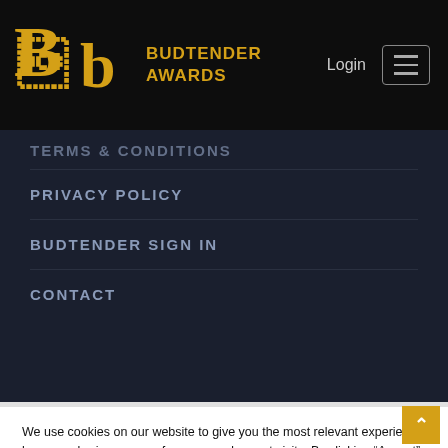BUDTENDER AWARDS — Login
TERMS & CONDITIONS
PRIVACY POLICY
BUDTENDER SIGN IN
CONTACT
We use cookies on our website to give you the most relevant experience by remembering your preferences and repeat visits. By clicking “Accept”, you consent to the use of ALL the cookies.
Do not sell my personal information.
Cookie Settings | Accept